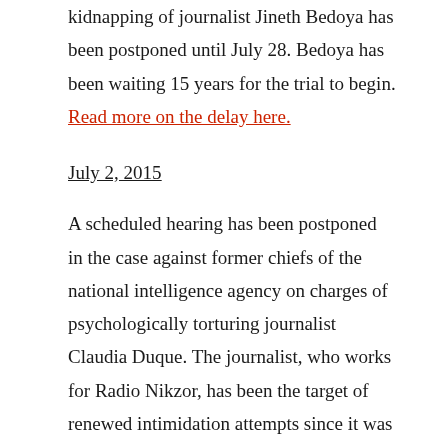kidnapping of journalist Jineth Bedoya has been postponed until July 28. Bedoya has been waiting 15 years for the trial to begin. Read more on the delay here.
July 2, 2015
A scheduled hearing has been postponed in the case against former chiefs of the national intelligence agency on charges of psychologically torturing journalist Claudia Duque. The journalist, who works for Radio Nikzor, has been the target of renewed intimidation attempts since it was announced the government would look into alleged kidnapping threats that began more than a decade ago. Read more about the threats and court adjournment here.